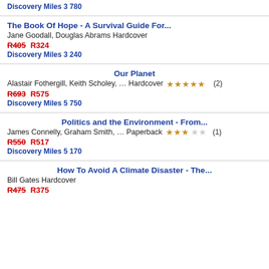Discovery Miles 3 780
The Book Of Hope - A Survival Guide For...
Jane Goodall, Douglas Abrams Hardcover
R405 R324
Discovery Miles 3 240
Our Planet
Alastair Fothergill, Keith Scholey, … Hardcover ★★★★★ (2)
R693 R575
Discovery Miles 5 750
Politics and the Environment - From...
James Connelly, Graham Smith, … Paperback ★★★☆☆ (1)
R550 R517
Discovery Miles 5 170
How To Avoid A Climate Disaster - The...
Bill Gates Hardcover
R475 R375